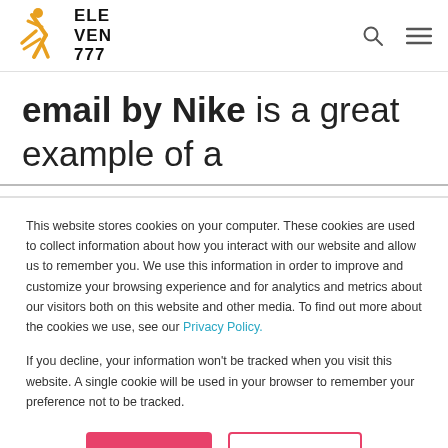[Figure (logo): Eleven 777 logo with stylized yellow figure and bold text ELE VEN 777]
email by Nike is a great example of a
This website stores cookies on your computer. These cookies are used to collect information about how you interact with our website and allow us to remember you. We use this information in order to improve and customize your browsing experience and for analytics and metrics about our visitors both on this website and other media. To find out more about the cookies we use, see our Privacy Policy.
If you decline, your information won't be tracked when you visit this website. A single cookie will be used in your browser to remember your preference not to be tracked.